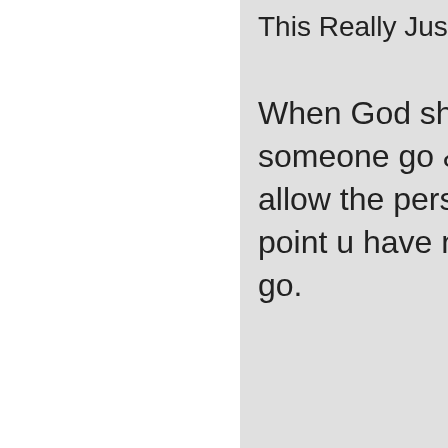This Really Just M
When God show someone go & u allow the person point u have no c go.